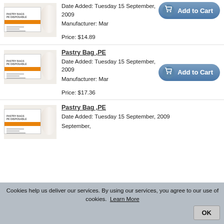[Figure (photo): Pastry bag PE product image - box with orange stripe and rolled tube]
Date Added: Tuesday 15 September, 2009
Manufacturer: Mar

Price: $14.89
[Figure (other): Add to Cart button]
[Figure (photo): Pastry bag PE product image - box with orange stripe and rolled tube]
Pastry Bag ,PE
Date Added: Tuesday 15 September, 2009
Manufacturer: Mar

Price: $17.36
[Figure (other): Add to Cart button]
[Figure (photo): Pastry bag PE product image - box with orange stripe and rolled tube]
Pastry Bag ,PE
Date Added: Tuesday 15 September, 2009
Cookies help us deliver our services. By using our services, you agree to our use of cookies.
Learn More
OK